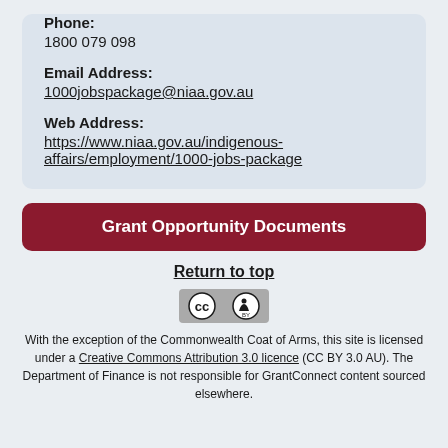Phone:
1800 079 098
Email Address:
1000jobspackage@niaa.gov.au
Web Address:
https://www.niaa.gov.au/indigenous-affairs/employment/1000-jobs-package
Grant Opportunity Documents
Return to top
[Figure (logo): Creative Commons BY license logo]
With the exception of the Commonwealth Coat of Arms, this site is licensed under a Creative Commons Attribution 3.0 licence (CC BY 3.0 AU). The Department of Finance is not responsible for GrantConnect content sourced elsewhere.